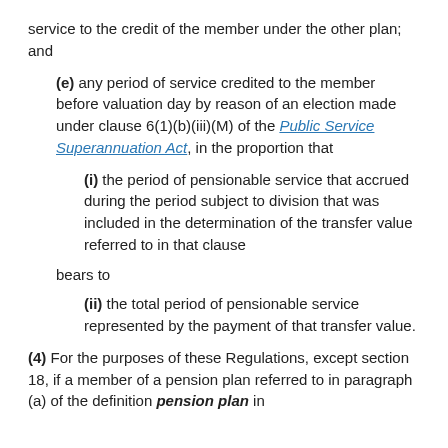service to the credit of the member under the other plan; and
(e) any period of service credited to the member before valuation day by reason of an election made under clause 6(1)(b)(iii)(M) of the Public Service Superannuation Act, in the proportion that
(i) the period of pensionable service that accrued during the period subject to division that was included in the determination of the transfer value referred to in that clause
bears to
(ii) the total period of pensionable service represented by the payment of that transfer value.
(4) For the purposes of these Regulations, except section 18, if a member of a pension plan referred to in paragraph (a) of the definition pension plan in